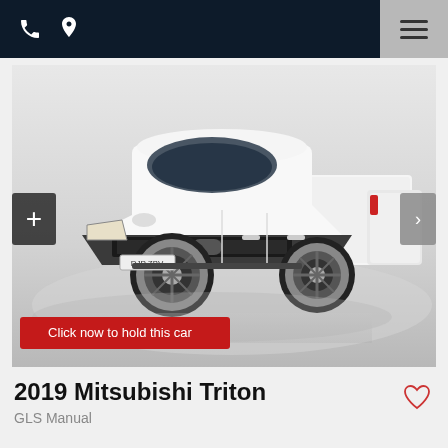Navigation bar with phone icon, location pin icon, and hamburger menu
[Figure (photo): 2019 Mitsubishi Triton GLS white dual-cab ute photographed in a studio on a reflective grey floor, front three-quarter view. Red CTA button overlay reading 'Click now to hold this car'. Left expand button (+) and right navigation arrow visible.]
2019 Mitsubishi Triton
GLS Manual